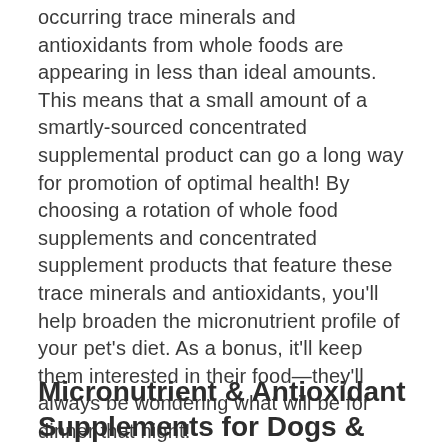occurring trace minerals and antioxidants from whole foods are appearing in less than ideal amounts. This means that a small amount of a smartly-sourced concentrated supplemental product can go a long way for promotion of optimal health! By choosing a rotation of whole food supplements and concentrated supplement products that feature these trace minerals and antioxidants, you'll help broaden the micronutrient profile of your pet's diet. As a bonus, it'll keep them interested in their food—they'll always be wondering what will be for dinner that night!
Micronutrient & Antioxidant Supplements for Dogs &